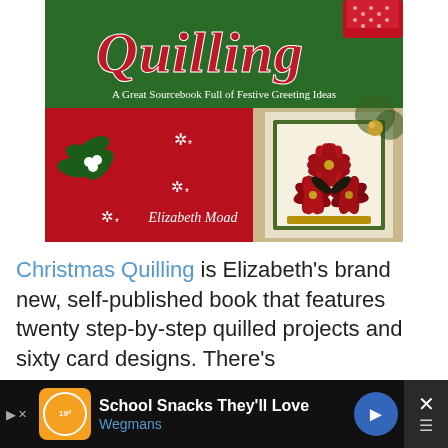[Figure (photo): Book cover of 'Christmas Quilling: A Great Sourcebook Full of Festive Greeting Ideas' by Elizabeth Moad. Green background with red cursive title, red panel on lower left with mistletoe decoration and snowflake motifs, photo of poinsettia quilled card on lower right.]
Christmas Quilling is Elizabeth's brand new, self-published book that features twenty step-by-step quilled projects and sixty card designs. There's
[Figure (photo): Advertisement bar: School Snacks They'll Love - Wegmans]